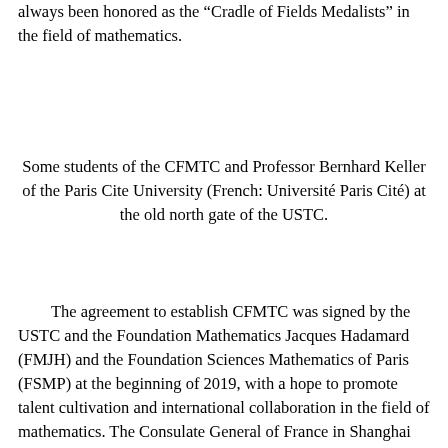always been honored as the “Cradle of Fields Medalists” in the field of mathematics.
Some students of the CFMTC and Professor Bernhard Keller of the Paris Cite University (French: Université Paris Cité) at the old north gate of the USTC.
The agreement to establish CFMTC was signed by the USTC and the Foundation Mathematics Jacques Hadamard (FMJH) and the Foundation Sciences Mathematics of Paris (FSMP) at the beginning of 2019, with a hope to promote talent cultivation and international collaboration in the field of mathematics. The Consulate General of France in Shanghai have also expedited to a large extent the construction of the program, and led to the establishment of